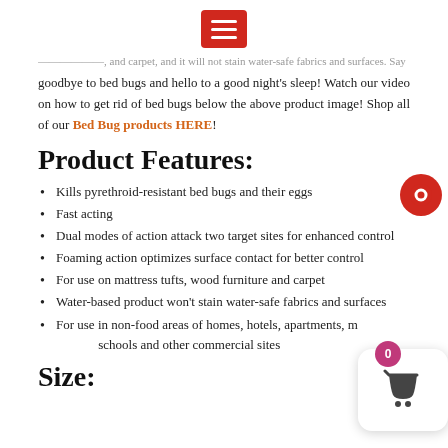[menu icon]
——————, and carpet, and it will not stain water-safe fabrics and surfaces. Say goodbye to bed bugs and hello to a good night's sleep! Watch our video on how to get rid of bed bugs below the above product image!  Shop all of our Bed Bug products HERE!
Product Features:
Kills pyrethroid-resistant bed bugs and their eggs
Fast acting
Dual modes of action attack two target sites for enhanced control
Foaming action optimizes surface contact for better control
For use on mattress tufts, wood furniture and carpet
Water-based product won't stain water-safe fabrics and surfaces
For use in non-food areas of homes, hotels, apartments, motels, schools and other commercial sites
Size: